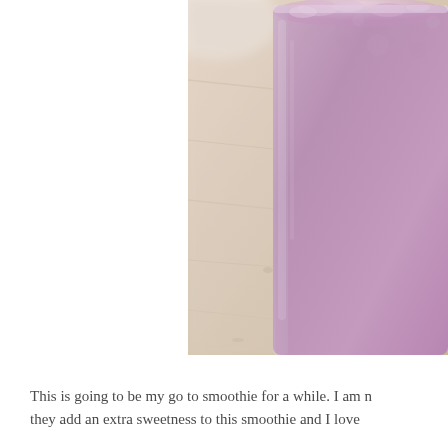[Figure (photo): Close-up photo of a purple/violet smoothie in a clear glass mason jar, sitting on a light wooden surface. The smoothie has a frothy, textured top. A plate or bowl is partially visible in the blurred background upper left. The image is cropped so only the right portion of the jar is visible.]
This is going to be my go to smoothie for a while. I am n... they add an extra sweetness to this smoothie and I love...